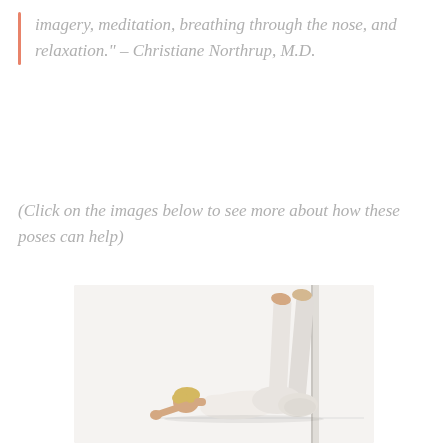imagery, meditation, breathing through the nose, and relaxation." – Christiane Northrup, M.D.
(Click on the images below to see more about how these poses can help)
[Figure (photo): A woman in white clothing lying on her back on the floor with her legs raised straight up against a wall, performing a yoga pose (Viparita Karani / legs-up-the-wall pose). White background.]